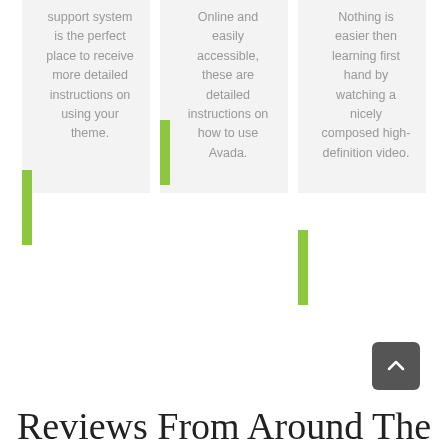support system is the perfect place to receive more detailed instructions on using your theme.
Online and easily accessible, these are detailed instructions on how to use Avada.
Nothing is easier then learning first hand by watching a nicely composed high-definition video.
Reviews From Around The